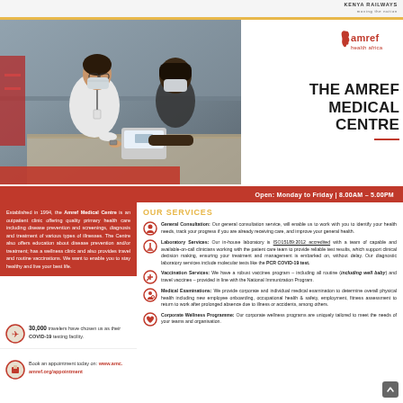KENYA RAILWAYS
[Figure (photo): A masked healthcare worker (nurse/doctor) in white uniform attending to a patient, taking blood pressure or performing a medical examination at a clinic desk.]
[Figure (logo): Amref Health Africa logo — red Africa continent shape with text 'amref health africa']
THE AMREF MEDICAL CENTRE
Open: Monday to Friday | 8.00AM - 5.00PM
Established in 1994, the Amref Medical Centre is an outpatient clinic offering quality primary health care including disease prevention and screenings, diagnosis and treatment of various types of illnesses. The Centre also offers education about disease prevention and/or treatment; has a wellness clinic and also provides travel and routine vaccinations. We want to enable you to stay healthy and live your best life.
30,000 travelers have chosen us as their COVID-19 testing facility.
Book an appointment today on: www.amc.amref.org/appointment
OUR SERVICES
General Consultation: Our general consultation service, will enable us to work with you to identify your health needs, track your progress if you are already receiving care, and improve your general health.
Laboratory Services: Our in-house laboratory is ISO15189:2012 accredited with a team of capable and available-on-call clinicians working with the patient care team to provide reliable test results, which support clinical decision making, ensuring your treatment and management is embarked on, without delay. Our diagnostic laboratory services include molecular tests like the PCR COVID-19 test.
Vaccination Services: We have a robust vaccines program – including all routine (including well baby) and travel vaccines – provided in line with the National Immunization Program.
Medical Examinations: We provide corporate and individual medical examination to determine overall physical health including new employee onboarding, occupational health & safety, employment, fitness assessment to return to work after prolonged absence due to illness or accidents, among others.
Corporate Wellness Programme: Our corporate wellness programs are uniquely tailored to meet the needs of your teams and organisation.